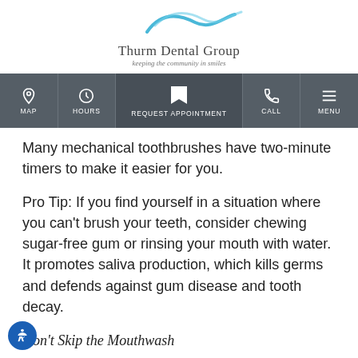[Figure (logo): Thurm Dental Group logo with blue wave/smile graphic, company name and tagline 'keeping the community in smiles']
[Figure (screenshot): Navigation bar with MAP, HOURS, REQUEST APPOINTMENT (active/highlighted), CALL, and MENU icons]
Many mechanical toothbrushes have two-minute timers to make it easier for you.
Pro Tip: If you find yourself in a situation where you can't brush your teeth, consider chewing sugar-free gum or rinsing your mouth with water. It promotes saliva production, which kills germs and defends against gum disease and tooth decay.
Don't Skip the Mouthwash
Many people think that brushing alone is enough to prevent cavities and tooth decay. However, using mouthwash can go a long way towards strengthening